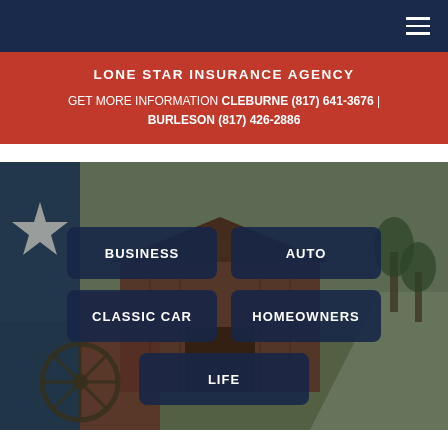Lone Star Insurance Agency navigation bar
LONE STAR INSURANCE AGENCY
GET MORE INFORMATION CLEBURNE (817) 641-3676 | BURLESON (817) 426-2886
[Figure (photo): Hero image of a Texas barn and landscape with a Texas flag visible, overlaid with insurance service navigation buttons: BUSINESS, AUTO, CLASSIC CAR, HOMEOWNERS, LIFE]
BUSINESS
AUTO
CLASSIC CAR
HOMEOWNERS
LIFE
Lone Star Insurance Agency Blog: johnson
Share | social media icons (Facebook, Twitter, LinkedIn, Mix, Reddit) | RSS, Google, Yahoo